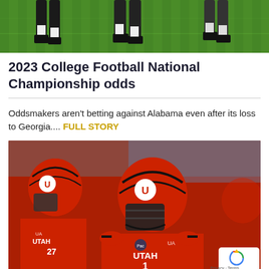[Figure (photo): Top portion of a football game photo showing players' legs and cleats on a green grass field]
2023 College Football National Championship odds
Oddsmakers aren't betting against Alabama even after its loss to Georgia.... FULL STORY
[Figure (photo): Utah Utes football players in red helmets and red jerseys with number 1 on the field during a game]